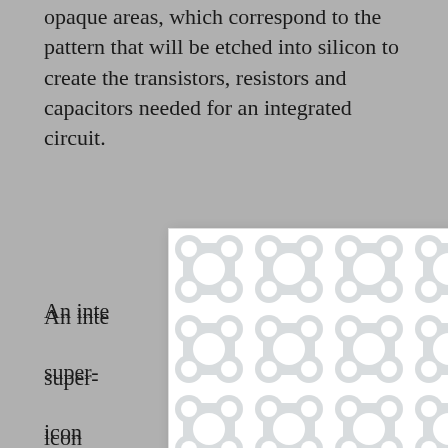opaque areas, which correspond to the pattern that will be etched into silicon to create the transistors, resistors and capacitors needed for an integrated circuit.
[Figure (illustration): A white modal/popup overlay displaying a repeating decorative pattern of interlocking rounded shapes (like connected circles or figure-eights) in light grey on white background. A close button (×) appears in the upper right corner of the modal.]
An inte super- icon dioxide ng base an is coated which is then ight focuse es an imprin hing, often using chemicals, forms the pattern, layer after layer, creating the circuitry, including connective wires. At the time of their discovery and subsequent application, these lasers were a